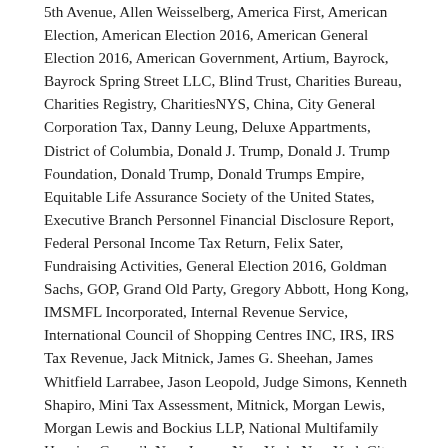5th Avenue, Allen Weisselberg, America First, American Election, American Election 2016, American General Election 2016, American Government, Artium, Bayrock, Bayrock Spring Street LLC, Blind Trust, Charities Bureau, Charities Registry, CharitiesNYS, China, City General Corporation Tax, Danny Leung, Deluxe Appartments, District of Columbia, Donald J. Trump, Donald J. Trump Foundation, Donald Trump, Donald Trumps Empire, Equitable Life Assurance Society of the United States, Executive Branch Personnel Financial Disclosure Report, Federal Personal Income Tax Return, Felix Sater, Fundraising Activities, General Election 2016, Goldman Sachs, GOP, Grand Old Party, Gregory Abbott, Hong Kong, IMSMFL Incorporated, Internal Revenue Service, International Council of Shopping Centres INC, IRS, IRS Tax Revenue, Jack Mitnick, James G. Sheehan, James Whitfield Larrabee, Jason Leopold, Judge Simons, Kenneth Shapiro, Mini Tax Assessment, Mitnick, Morgan Lewis, Morgan Lewis and Bockius LLP, National Multifamily Housing Council, New Jersey, New York, New York City, New York State, New York Supreme